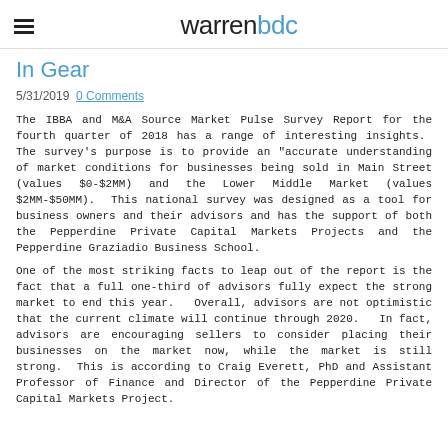warrenbdc
In Gear
5/31/2019  0 Comments
The IBBA and M&A Source Market Pulse Survey Report for the fourth quarter of 2018 has a range of interesting insights. The survey's purpose is to provide an "accurate understanding of market conditions for businesses being sold in Main Street (values $0-$2MM) and the Lower Middle Market (values $2MM-$50MM). This national survey was designed as a tool for business owners and their advisors and has the support of both the Pepperdine Private Capital Markets Projects and the Pepperdine Graziadio Business School.
One of the most striking facts to leap out of the report is the fact that a full one-third of advisors fully expect the strong market to end this year. Overall, advisors are not optimistic that the current climate will continue through 2020. In fact, advisors are encouraging sellers to consider placing their businesses on the market now, while the market is still strong. This is according to Craig Everett, PhD and Assistant Professor of Finance and Director of the Pepperdine Private Capital Markets Project.